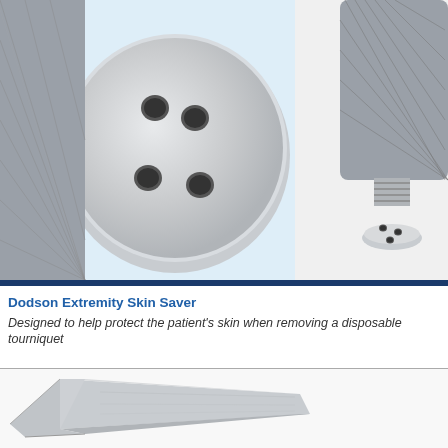[Figure (photo): Two close-up photos of stainless steel surgical/medical instrument components: left image shows a round disc-shaped end-piece with four holes on a light blue background; right image shows a knurled cylindrical handle with a smaller threaded disc attachment at the bottom, also with small holes.]
Dodson Extremity Skin Saver
Designed to help protect the patient's skin when removing a disposable tourniquet
[Figure (photo): Close-up photo of a flat stainless steel surgical tool with an angled spatula-like tip on a white background, partially visible at the bottom of the page.]